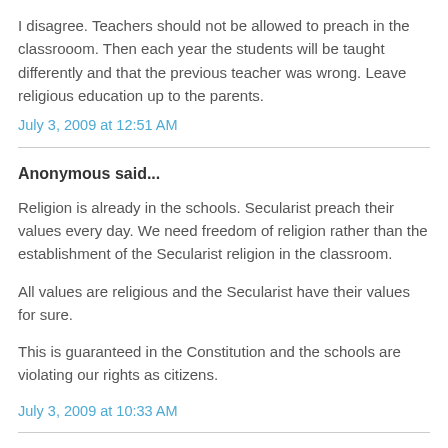I disagree. Teachers should not be allowed to preach in the classrooom. Then each year the students will be taught differently and that the previous teacher was wrong. Leave religious education up to the parents.
July 3, 2009 at 12:51 AM
Anonymous said...
Religion is already in the schools. Secularist preach their values every day. We need freedom of religion rather than the establishment of the Secularist religion in the classroom.
All values are religious and the Secularist have their values for sure.
This is guaranteed in the Constitution and the schools are violating our rights as citizens.
July 3, 2009 at 10:33 AM